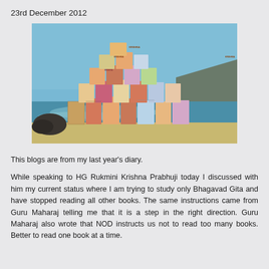23rd December 2012
[Figure (photo): A pyramid arrangement of colorful Krishna and ISKCON books stacked on a beach scene with ocean waves and rocky coastline in the background. The books have titles including 'Krishna' visible on the spines.]
This blogs are from my last year’s diary.
While speaking to HG Rukmini Krishna Prabhuji today I discussed with him my current status where I am trying to study only Bhagavad Gita and have stopped reading all other books. The same instructions came from Guru Maharaj telling me that it is a step in the right direction. Guru Maharaj also wrote that NOD instructs us not to read too many books. Better to read one book at a time.